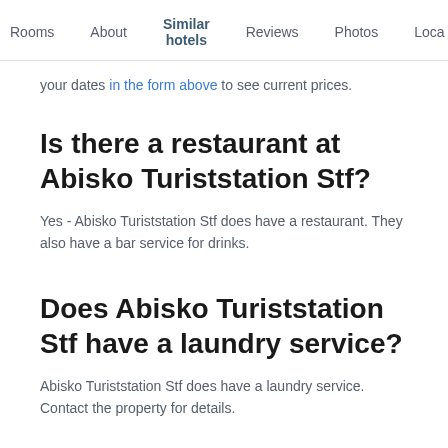Rooms | About | Similar hotels | Reviews | Photos | Loca…
your dates in the form above to see current prices.
Is there a restaurant at Abisko Turiststation Stf?
Yes - Abisko Turiststation Stf does have a restaurant. They also have a bar service for drinks.
Does Abisko Turiststation Stf have a laundry service?
Abisko Turiststation Stf does have a laundry service. Contact the property for details.